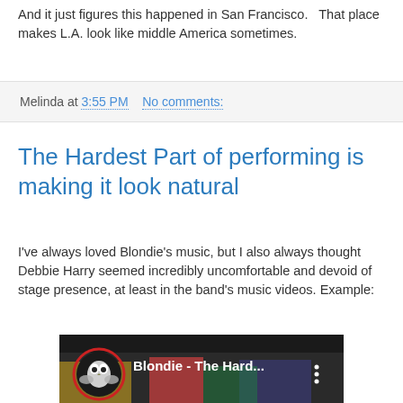And it just figures this happened in San Francisco.   That place makes L.A. look like middle America sometimes.
Melinda at 3:55 PM    No comments:
The Hardest Part of performing is making it look natural
I've always loved Blondie's music, but I also always thought Debbie Harry seemed incredibly uncomfortable and devoid of stage presence, at least in the band's music videos. Example:
[Figure (screenshot): YouTube video thumbnail showing Blondie - The Hard... with a circular owl logo on the left and a three-dot menu icon on the right, over a colorful background with a performer visible]